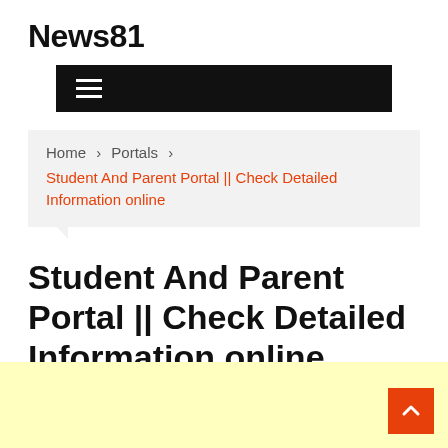News81
[Figure (other): Black navigation bar with hamburger menu icon (three horizontal lines)]
Home > Portals > Student And Parent Portal || Check Detailed Information online
Student And Parent Portal || Check Detailed Information online